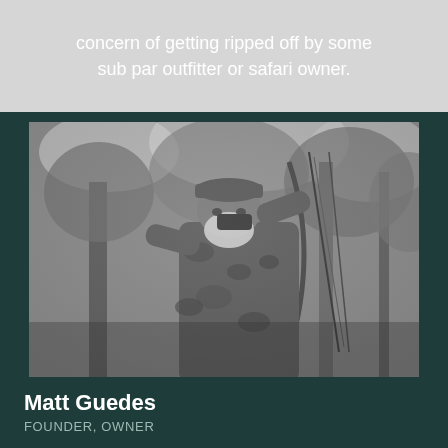concern of getting ripped off by some sub par outfitter or safari owner.
[Figure (photo): Black and white photograph of a bearded man in camouflage clothing holding a compound bow, standing among trees outdoors.]
Matt Guedes
FOUNDER, OWNER